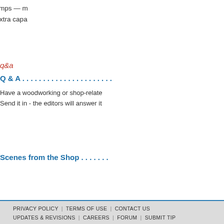Discover what's new in clamps — more adjustable pressure, and extra capa…
q&a
Q & A . . . . . . . . . . . . . . . . . . . . . .
Have a woodworking or shop-relate… Send it in - the editors will answer it…
Scenes from the Shop . . . . . . .
PRIVACY POLICY | TERMS OF USE | CONTACT US | UPDATES & REVISIONS | CAREERS | FORUM | SUBMIT TIP
[Figure (logo): MORE AIM SITES [+] button]
[Figure (logo): Active Interest Media logo — red stylized M with dot, text ACTIVE INTEREST MEDIA]